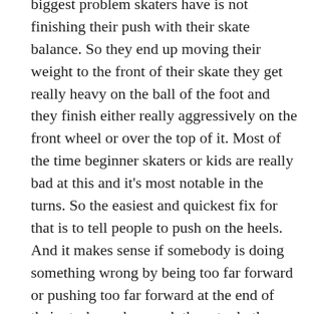biggest problem skaters have is not finishing their push with their skate balance. So they end up moving their weight to the front of their skate they get really heavy on the ball of the foot and they finish either really aggressively on the front wheel or over the top of it. Most of the time beginner skaters or kids are really bad at this and it's most notable in the turns. So the easiest and quickest fix for that is to tell people to push on the heels. And it makes sense if somebody is doing something wrong by being too far forward or pushing too far forward at the end of their stroke and you ask them to do the opposite go to the other side of their skate. You're probably going to get the result you're looking for as a coach and it does work.
Every coach I've ever heard tells people to push through the heels and this is why. It is much easier as a reference point, internally as a cue, to sit back in the heel and lock that out versus asking somebody to put even distribution of weight across all four wheels especially